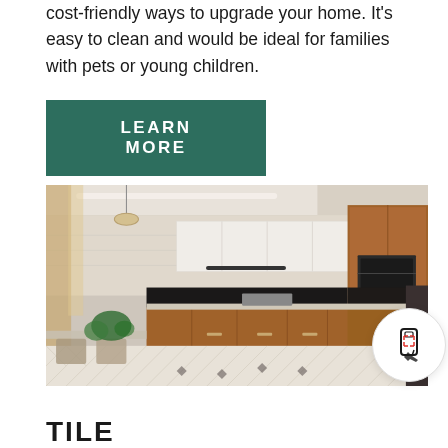cost-friendly ways to upgrade your home. It's easy to clean and would be ideal for families with pets or young children.
LEARN MORE
[Figure (photo): Modern kitchen interior with wooden cabinets, white upper cabinets, black backsplash, a dining table with chairs, plants, and a tiled floor with diamond pattern accents]
TILE